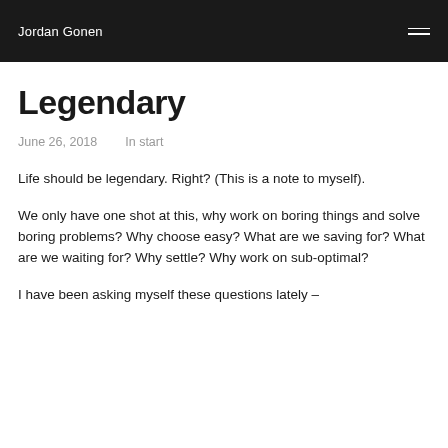Jordan Gonen
Legendary
June 26, 2018    In start
Life should be legendary. Right? (This is a note to myself).
We only have one shot at this, why work on boring things and solve boring problems? Why choose easy? What are we saving for? What are we waiting for? Why settle? Why work on sub-optimal?
I have been asking myself these questions lately –